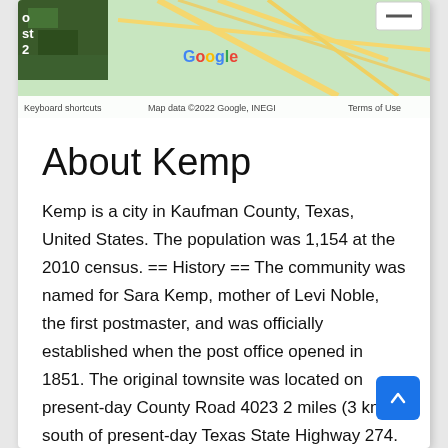[Figure (map): Partial Google Map screenshot showing road network near Kemp, Texas with satellite imagery thumbnail in upper-left corner, a minus button in upper-right, Google logo in center, and map footer bar with 'Keyboard shortcuts', 'Map data ©2022 Google, INEGI', and 'Terms of Use']
About Kemp
Kemp is a city in Kaufman County, Texas, United States. The population was 1,154 at the 2010 census. == History == The community was named for Sara Kemp, mother of Levi Noble, the first postmaster, and was officially established when the post office opened in 1851. The original townsite was located on present-day County Road 4023 2 miles (3 km) south of present-day Texas State Highway 274. It grew slowly during its first thirty years.